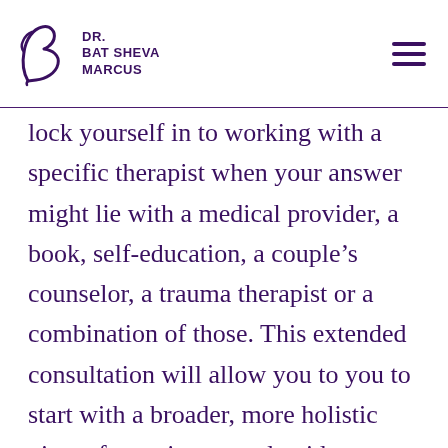DR. BAT SHEVA MARCUS
lock yourself in to working with a specific therapist when your answer might lie with a medical provider, a book, self-education, a couple’s counselor, a trauma therapist or a combination of those. This extended consultation will allow you to you to start with a broader, more holistic view of your issues and guide you to making more educated and wiser choices. If, after the first session, it makes sense to